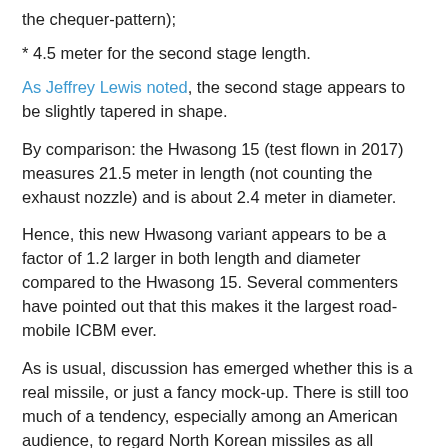the chequer-pattern);
* 4.5 meter for the second stage length.
As Jeffrey Lewis noted, the second stage appears to be slightly tapered in shape.
By comparison: the Hwasong 15 (test flown in 2017) measures 21.5 meter in length (not counting the exhaust nozzle) and is about 2.4 meter in diameter.
Hence, this new Hwasong variant appears to be a factor of 1.2 larger in both length and diameter compared to the Hwasong 15. Several commenters have pointed out that this makes it the largest road-mobile ICBM ever.
As is usual, discussion has emerged whether this is a real missile, or just a fancy mock-up. There is still too much of a tendency, especially among an American audience, to regard North Korean missiles as all 'smoke and mirrors'. Given North Korea's 2017 track record with succesful Hwasong 12 IRBM and Hwasong 15 ICBM test flights, I do not think that the default reaction should be that this new missile must be a